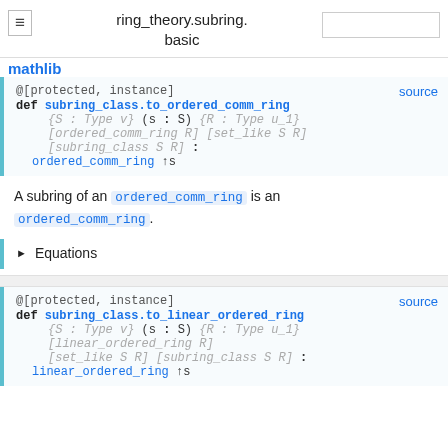ring_theory.subring.basic
@[protected, instance]   source
def subring_class.to_ordered_comm_ring
    {S : Type v} (s : S) {R : Type u_1}
    [ordered_comm_ring R] [set_like S R]
    [subring_class S R] :
    ordered_comm_ring ↑s
A subring of an ordered_comm_ring is an ordered_comm_ring.
▶ Equations
@[protected, instance]   source
def subring_class.to_linear_ordered_ring
    {S : Type v} (s : S) {R : Type u_1}
    [linear_ordered_ring R]
    [set_like S R] [subring_class S R] :
    linear_ordered_ring ↑s